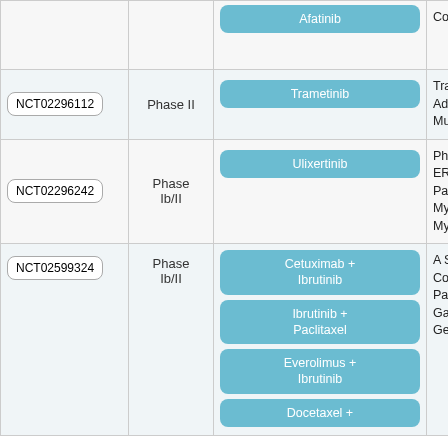| NCT ID | Phase | Drug(s) | Title |
| --- | --- | --- | --- |
|  |  | Afatinib | Colorectal C… |
| NCT02296112 | Phase II | Trametinib | Trametinib With Advan… With BRAF Mutations |
| NCT02296242 | Phase Ib/II | Ulixertinib | Phase 1/2 S… ERK1/2 Inh… Patients Wi… Myelogeno… Myelodysp… |
| NCT02599324 | Phase Ib/II | Cetuximab + Ibrutinib | Ibrutinib + Paclitaxel | Everolimus + Ibrutinib | Docetaxel + | A Study to… Combinatio… Patients Wi… Gastrointес… Genitourina… |